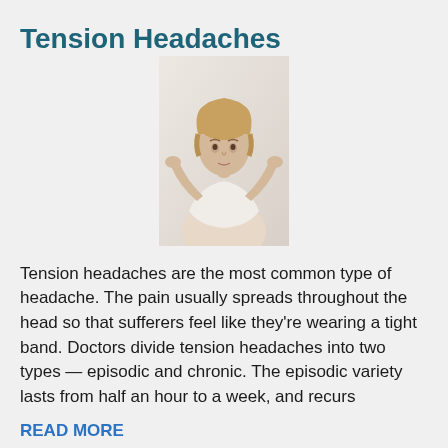Tension Headaches
[Figure (photo): A woman pressing both hands against her temples, appearing to have a headache, wearing a white top, on a light background.]
Tension headaches are the most common type of headache. The pain usually spreads throughout the head so that sufferers feel like they’re wearing a tight band. Doctors divide tension headaches into two types — episodic and chronic. The episodic variety lasts from half an hour to a week, and recurs
READ MORE
Migraine Headaches